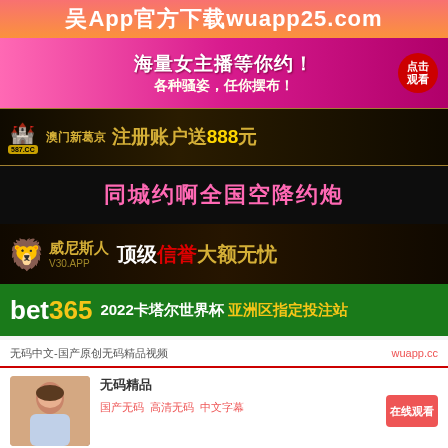吴App官方下载wuapp25.com
[Figure (illustration): Pink banner ad with Chinese text: 海量女主播等你约！各种骚姿，任你摆布！ with a red circle badge 点击观看]
[Figure (illustration): Dark golden banner: 澳门新葡京 587.CC 注册账户送888元 with game icons]
[Figure (illustration): Black banner with pink Chinese text: 同城约啪全国空降约炮]
[Figure (illustration): Dark banner with golden lion: 威尼斯人 V30.APP 顶级信誉大额无忧]
[Figure (illustration): Green banner: bet365 2022卡塔尔世界杯 亚洲区指定投注站]
无码中文-国产原创无码精品视频
wuapp.cc
[Figure (photo): Thumbnail of a woman in casual clothes]
无码精品
国产无码 高清无码 中文字幕
在线观看